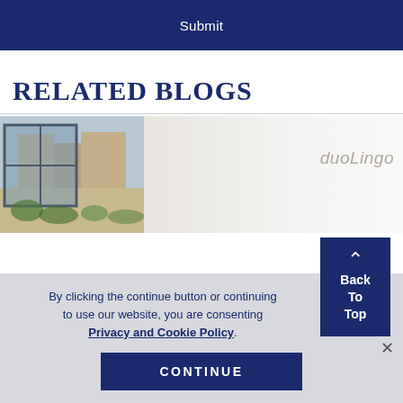Submit
RELATED BLOGS
[Figure (photo): Interior architectural photo showing a glass partition/wall with a view of an outdoor courtyard and buildings in the background. A 'duoLingo' watermark appears on the right side of the image.]
By clicking the continue button or continuing to use our website, you are consenting to our Privacy and Cookie Policy.
CONTINUE